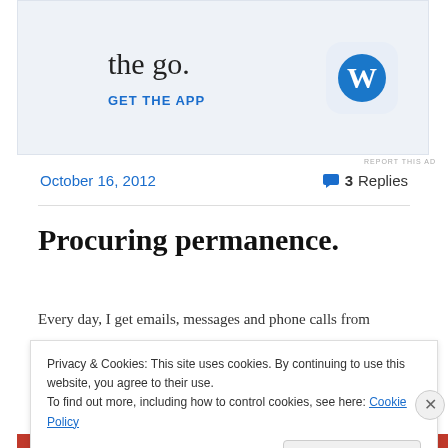[Figure (screenshot): WordPress app advertisement banner showing 'the go.' text, 'GET THE APP' link in blue, and WordPress 'W' logo icon on a light blue background]
REPORT THIS AD
October 16, 2012
3 Replies
Procuring permanence.
Every day, I get emails, messages and phone calls from
Privacy & Cookies: This site uses cookies. By continuing to use this website, you agree to their use.
To find out more, including how to control cookies, see here: Cookie Policy
Close and accept